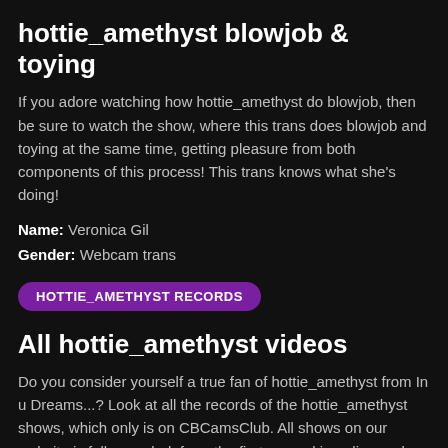hottie_amethyst blowjob & toying
If you adore watching how hottie_amethyst do blowjob, then be sure to watch the show, where this trans does blowjob and toying at the same time, getting pleasure from both components of this process! This trans knows what she's doing!
Name: Veronica Gil
Gender: Webcam trans
HOTTIE_AMETHYST RECORDS
All hottie_amethyst videos
Do you consider yourself a true fan of hottie_amethyst from In u Dreams...? Look at all the records of the hottie_amethyst shows, which only is on CBCamsClub. All shows on our website is full-recorded, from the first second in online and strictly to the end of the perfomance. Register on our website and get unlimited access to all the videos of all webcams models on our website.